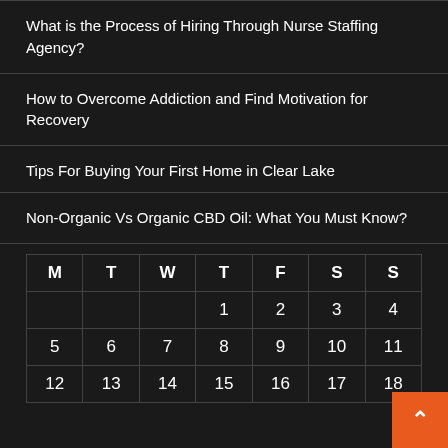What is the Process of Hiring Through Nurse Staffing Agency?
How to Overcome Addiction and Find Motivation for Recovery
Tips For Buying Your First Home in Clear Lake
Non-Organic Vs Organic CBD Oil: What You Must Know?
| M | T | W | T | F | S | S |
| --- | --- | --- | --- | --- | --- | --- |
|  |  |  | 1 | 2 | 3 | 4 |
| 5 | 6 | 7 | 8 | 9 | 10 | 11 |
| 12 | 13 | 14 | 15 | 16 | 17 | 18 |